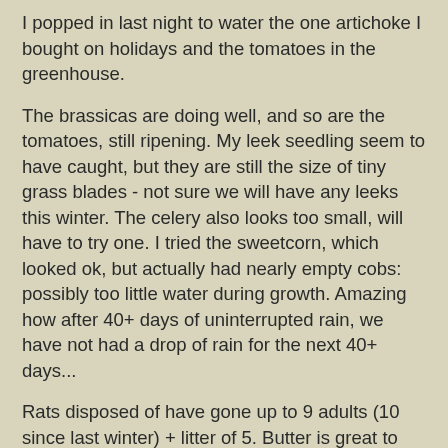I popped in last night to water the one artichoke I bought on holidays and the tomatoes in the greenhouse.
The brassicas are doing well, and so are the tomatoes, still ripening. My leek seedling seem to have caught, but they are still the size of tiny grass blades - not sure we will have any leeks this winter. The celery also looks too small, will have to try one. I tried the sweetcorn, which looked ok, but actually had nearly empty cobs: possibly too little water during growth. Amazing how after 40+ days of uninterrupted rain, we have not had a drop of rain for the next 40+ days...
Rats disposed of have gone up to 9 adults (10 since last winter) + litter of 5. Butter is great to lure them into the cage, although it takes longer than smelly cheese.
Later today or tomorrow I will go back and get some decent work done.
Price for the pole has gone up to £2.20 + £ 1.50 for water connection... how big is my plot? I was pretty sure it was 4.5 but the bill calls it 10.7 poles instead. It surely cannot be